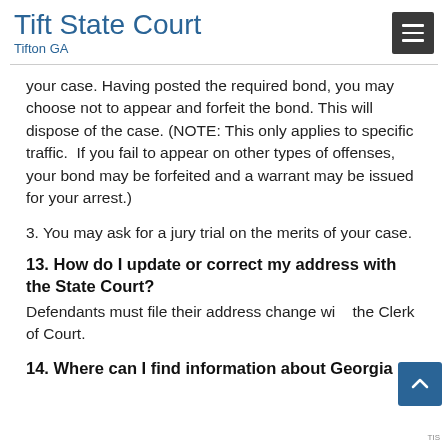Tift State Court
Tifton GA
your case. Having posted the required bond, you may choose not to appear and forfeit the bond. This will dispose of the case. (NOTE: This only applies to specific traffic.  If you fail to appear on other types of offenses, your bond may be forfeited and a warrant may be issued for your arrest.)
3. You may ask for a jury trial on the merits of your case.
13. How do I update or correct my address with the State Court?
Defendants must file their address change with the Clerk of Court.
14. Where can I find information about Georgia